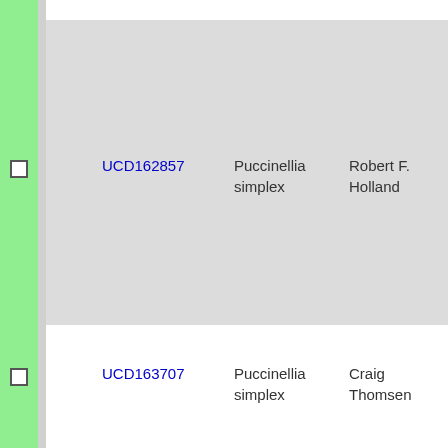|  | Accession | Species | Collector | Date | Num |
| --- | --- | --- | --- | --- | --- |
| ☐ | UCD162857 | Puccinellia simplex | Robert F. Holland | 1976-4-2 | 245 |
| ☐ | UCD163707 | Puccinellia simplex | Craig Thomsen | 1999-5-10 | 2019 |